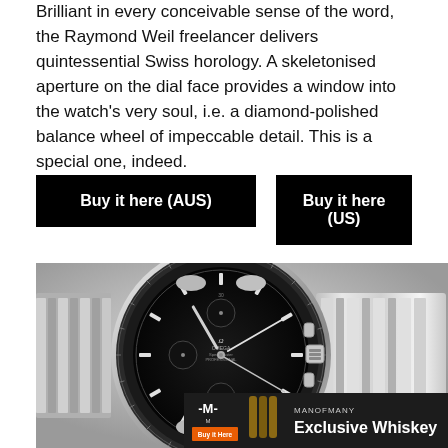Brilliant in every conceivable sense of the word, the Raymond Weil freelancer delivers quintessential Swiss horology. A skeletonised aperture on the dial face provides a window into the watch's very soul, i.e. a diamond-polished balance wheel of impeccable detail. This is a special one, indeed.
Buy it here (AUS)
Buy it here (US)
[Figure (photo): Close-up photograph of an Omega Speedmaster Professional chronograph watch with black dial, tachymetre bezel, and stainless steel bracelet on a light grey background. An advertisement banner for ManOfMany Exclusive Whiskey overlays the bottom of the image.]